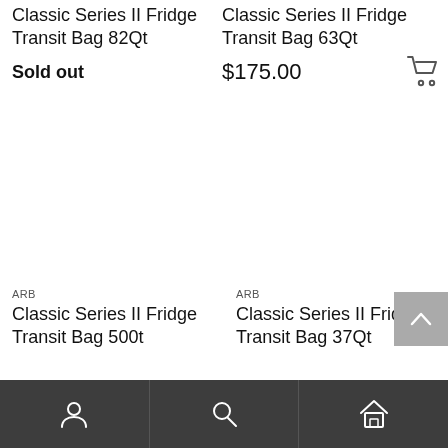Classic Series II Fridge Transit Bag 82Qt
Sold out
Classic Series II Fridge Transit Bag 63Qt
$175.00
ARB
Classic Series II Fridge Transit Bag 500t
ARB
Classic Series II Fridge Transit Bag 37Qt
Account | Search | Home